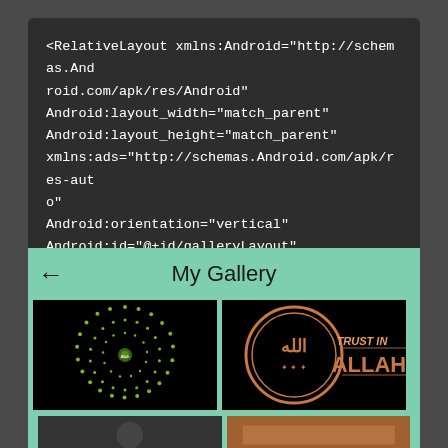[Figure (screenshot): Code block on dark background showing Android XML layout attributes: RelativeLayout with xmlns:Android, layout_width, layout_height, xmlns:ads, orientation, id, and padding attributes]
[Figure (screenshot): Android app screenshot showing 'My Gallery' screen with teal/mint green toolbar, back arrow, and a 2-column grid of gallery images including a circular yellow-green mandala on black background and a 'Trust in Allah' calligraphic logo on black background]